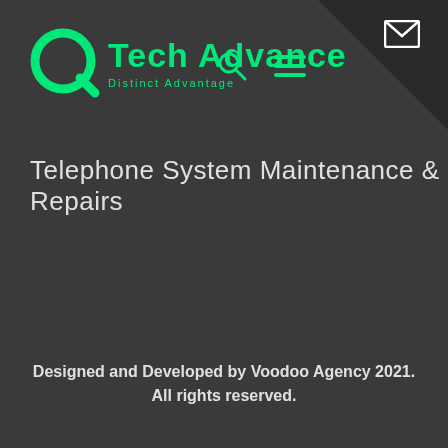[Figure (logo): Tech Advance logo with green circular Q icon and green 'Tech Advance' text with 'Distinct Advantage' subtitle. Navigation icons (search, menu hamburger) in green and email envelope in white on dark triangle background top-right.]
Telephone System Maintenance & Repairs
Designed and Developed by Voodoo Agency 2021. All rights reserved.